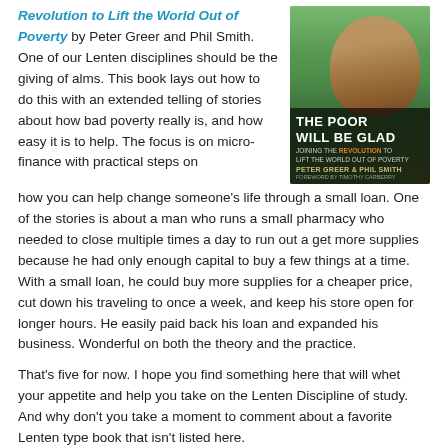Revolution to Lift the World Out of Poverty by Peter Greer and Phil Smith. One of our Lenten disciplines should be the giving of alms. This book lays out how to do this with an extended telling of stories about how bad poverty really is, and how easy it is to help. The focus is on micro-finance with practical steps on how you can help change someone's life through a small loan. One of the stories is about a man who runs a small pharmacy who needed to close multiple times a day to run out a get more supplies because he had only enough capital to buy a few things at a time. With a small loan, he could buy more supplies for a cheaper price, cut down his traveling to once a week, and keep his store open for longer hours. He easily paid back his loan and expanded his business. Wonderful on both the theory and the practice.
[Figure (photo): Book cover of 'The Poor Will Be Glad: Joining the Revolution to Lift the World Out of Poverty' by Peter Greer and Phil Smith. Shows people in background with bold white title text on dark overlay.]
That's five for now. I hope you find something here that will whet your appetite and help you take on the Lenten Discipline of study. And why don't you take a moment to comment about a favorite Lenten type book that isn't listed here.